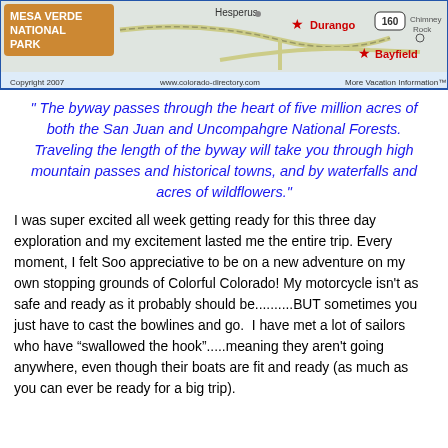[Figure (map): Map showing Mesa Verde National Park area with roads, towns including Hesperus, Durango, Bayfield, Chimney Rock, and highway 160. Copyright 2007 www.colorado-directory.com More Vacation Information.]
" The byway passes through the heart of five million acres of both the San Juan and Uncompahgre National Forests. Traveling the length of the byway will take you through high mountain passes and historical towns, and by waterfalls and acres of wildflowers."
I was super excited all week getting ready for this three day exploration and my excitement lasted me the entire trip. Every moment, I felt Soo appreciative to be on a new adventure on my own stopping grounds of Colorful Colorado! My motorcycle isn't as safe and ready as it probably should be..........BUT sometimes you just have to cast the bowlines and go.  I have met a lot of sailors who have “swallowed the hook”.....meaning they aren't going anywhere, even though their boats are fit and ready (as much as you can ever be ready for a big trip).